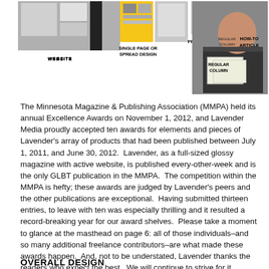[Figure (photo): A collage of magazine/publication awards images showing a website screenshot, single page or spread design, profile article, regular column, and how-to article examples, along with a photo of a person holding award certificates.]
WEBSITE
SINGLE PAGE OR SPREAD DESIGN
PROFILE ARTICLE
REGULAR COLUMN
HOW-TO ARTICLE
The Minnesota Magazine & Publishing Association (MMPA) held its annual Excellence Awards on November 1, 2012, and Lavender Media proudly accepted ten awards for elements and pieces of Lavender's array of products that had been published between July 1, 2011, and June 30, 2012.  Lavender, as a full-sized glossy magazine with active website, is published every-other-week and is the only GLBT publication in the MMPA.  The competition within the MMPA is hefty; these awards are judged by Lavender's peers and the other publications are exceptional.  Having submitted thirteen entries, to leave with ten was especially thrilling and it resulted a record-breaking year for our award shelves.  Please take a moment to glance at the masthead on page 6: all of those individuals–and so many additional freelance contributors–are what made these awards happen.  And, not to be understated, Lavender thanks the readers who expect the best.  We will continue to strive for it.
OVERALL DESIGN